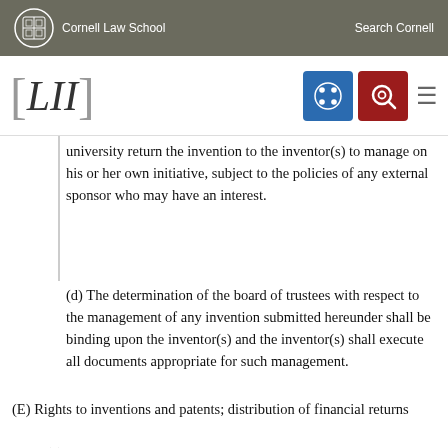Cornell Law School | Search Cornell
[Figure (logo): LII Legal Information Institute logo with Cornell crest and navigation icons]
university return the invention to the inventor(s) to manage on his or her own initiative, subject to the policies of any external sponsor who may have an interest.
(d) The determination of the board of trustees with respect to the management of any invention submitted hereunder shall be binding upon the inventor(s) and the inventor(s) shall execute all documents appropriate for such management.
(E) Rights to inventions and patents; distribution of financial returns
(1) All rights with respect to inventions